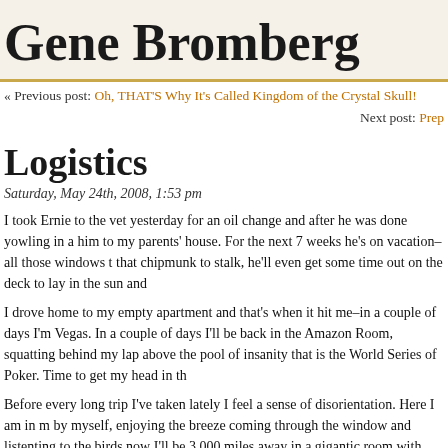Gene Bromberg
« Previous post: Oh, THAT'S Why It's Called Kingdom of the Crystal Skull!
Next post: Prep
Logistics
Saturday, May 24th, 2008, 1:53 pm
I took Ernie to the vet yesterday for an oil change and after he was done yowling in a him to my parents' house. For the next 7 weeks he's on vacation–all those windows t that chipmunk to stalk, he'll even get some time out on the deck to lay in the sun and
I drove home to my empty apartment and that's when it hit me–in a couple of days I'm Vegas. In a couple of days I'll be back in the Amazon Room, squatting behind my lap above the pool of insanity that is the World Series of Poker. Time to get my head in th
Before every long trip I've taken lately I feel a sense of disorientation. Here I am in m by myself, enjoying the breeze coming through the window and listenting to the birds now I'll be 3,000 miles away in a gigantic room with 3,000 other people. It's seems so mind can't quite believe it. But once I'm there it'll seem perfectly normal and routine.
I'm making my packing lists, hoping to travel a bit lighter this time around. Last year b